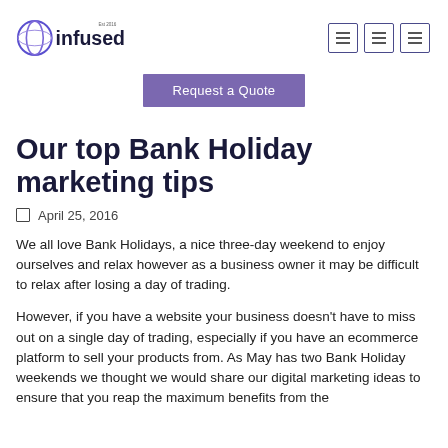Infused (logo) Est 2016 — Request a Quote — navigation icons
Our top Bank Holiday marketing tips
April 25, 2016
We all love Bank Holidays, a nice three-day weekend to enjoy ourselves and relax however as a business owner it may be difficult to relax after losing a day of trading.
However, if you have a website your business doesn't have to miss out on a single day of trading, especially if you have an ecommerce platform to sell your products from. As May has two Bank Holiday weekends we thought we would share our digital marketing ideas to ensure that you reap the maximum benefits from the